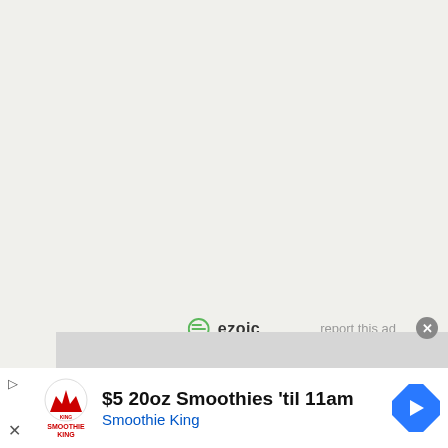[Figure (logo): Ezoic logo with green circular icon and bold text 'ezoic', plus 'report this ad' link to the right]
About   Contact   Privacy Policy   Cookie Policy
[Figure (other): Social media icons: Facebook, Pinterest, Twitter]
[Figure (other): Bottom advertisement banner: Smoothie King ad showing '$5 20oz Smoothies til 11am' with logo and navigation arrow icon]